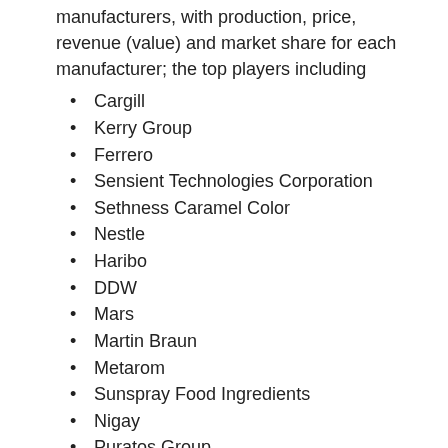manufacturers, with production, price, revenue (value) and market share for each manufacturer; the top players including
Cargill
Kerry Group
Ferrero
Sensient Technologies Corporation
Sethness Caramel Color
Nestle
Haribo
DDW
Mars
Martin Braun
Metarom
Sunspray Food Ingredients
Nigay
Puratos Group
Bakels Worldwide
Alvin Caramel Colours